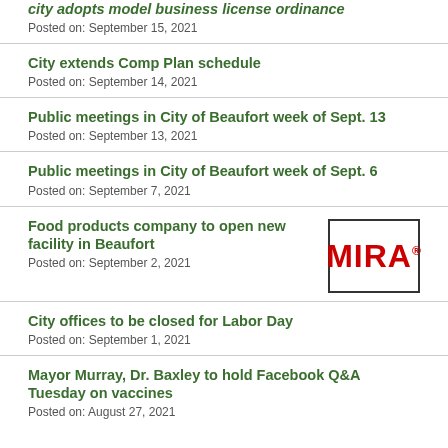city adopts model business license ordinance
Posted on: September 15, 2021
City extends Comp Plan schedule
Posted on: September 14, 2021
Public meetings in City of Beaufort week of Sept. 13
Posted on: September 13, 2021
Public meetings in City of Beaufort week of Sept. 6
Posted on: September 7, 2021
Food products company to open new facility in Beaufort
Posted on: September 2, 2021
[Figure (logo): MIRA logo in red bold letters with border]
City offices to be closed for Labor Day
Posted on: September 1, 2021
Mayor Murray, Dr. Baxley to hold Facebook Q&A Tuesday on vaccines
Posted on: August 27, 2021